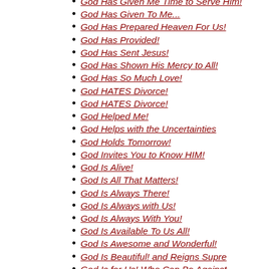God Has Given Me Time to Serve Him!
God Has Given To Me...
God Has Prepared Heaven For Us!
God Has Provided!
God Has Sent Jesus!
God Has Shown His Mercy to All!
God Has So Much Love!
God HATES Divorce!
God HATES Divorce!
God Helped Me!
God Helps with the Uncertainties
God Holds Tomorrow!
God Invites You to Know HIM!
God Is Alive!
God Is All That Matters!
God Is Always There!
God Is Always with Us!
God Is Always With You!
God Is Available To Us All!
God Is Awesome and Wonderful!
God Is Beautiful! and Reigns Supre
God Is for Us! Who Can Be Against
God Is Good!
God Is Good! All the Time!
God Is Good, Loving and Kind!
God Is Good...
God Is Great Indeed!
God Is Greater Than Your Problems!
God Is Greater!
God Is Here Today!
God Is Here!